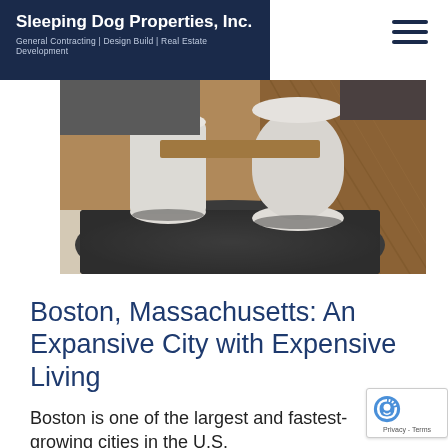Sleeping Dog Properties, Inc. | General Contracting | Design Build | Real Estate Development
[Figure (photo): Interior room photo showing a dark charcoal shag rug on hardwood flooring with white cylindrical planters/ottomans and wooden furniture in the background]
Boston, Massachusetts: An Expansive City with Expensive Living
Boston is one of the largest and fastest-growing cities in the U.S. best with the home of the country